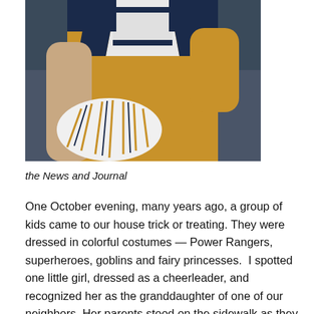[Figure (photo): A cheerleader in a gold, white, and navy blue uniform holding white and gold pom-poms. The photo is cropped to show the torso and arms.]
the News and Journal
One October evening, many years ago, a group of kids came to our house trick or treating. They were dressed in colorful costumes — Power Rangers, superheroes, goblins and fairy princesses.  I spotted one little girl, dressed as a cheerleader, and recognized her as the granddaughter of one of our neighbors. Her parents stood on the sidewalk as they watched her and her brother and sister get a few pieces of candy and politely say, “thank you”. The choice of the cheerleader costume was appropriate since we would often see her in her grandparents’ yard, doing cartwheels and jumps. I can remember her grandmother